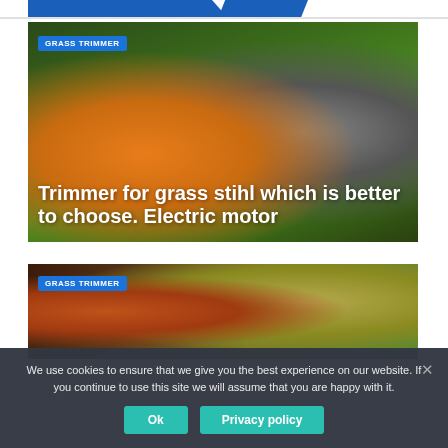[Figure (photo): Grass trimmer/weed eater with orange engine body lying on green grass, partially showing a hand holding it]
GRASS TRIMMER
Trimmer for grass stihl which is better to choose. Electric motor
[Figure (photo): Grass trimmer/weed eater partially visible over colorful blurred background with orange and yellow tones]
GRASS TRIMMER
We use cookies to ensure that we give you the best experience on our website. If you continue to use this site we will assume that you are happy with it.